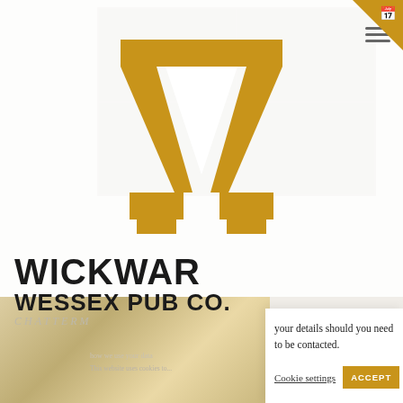[Figure (logo): Gold letter W logo for Wickwar Wessex Pub Co]
WICKWAR
WESSEX PUB CO.
your details should you need to be contacted.
Cookie settings
ACCEPT